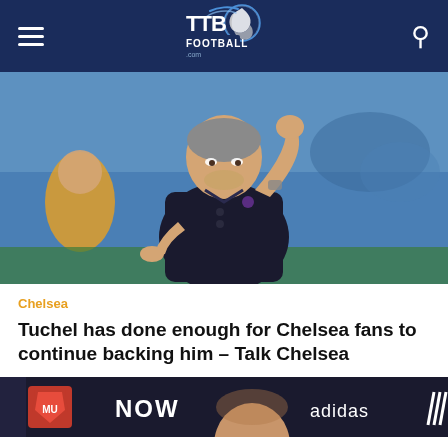TTB Football
[Figure (photo): A football manager (Thomas Tuchel) in a dark navy polo shirt, pointing with his right hand on the touchline during a match, with blurred crowd and orange-vested steward visible in background]
Chelsea
Tuchel has done enough for Chelsea fans to continue backing him – Talk Chelsea
[Figure (photo): Partial view of a press conference or broadcast background showing Manchester United badge, the word NOW, a person's head (bald), and Adidas logo on dark background]